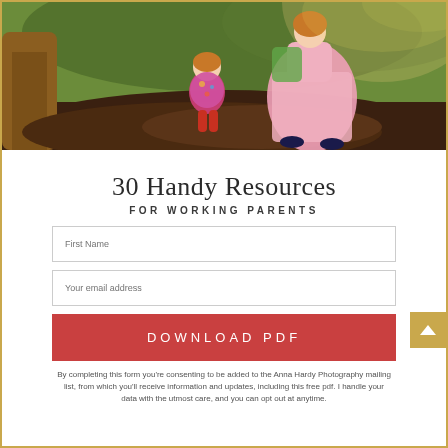[Figure (photo): Outdoor nature scene with a young child and adult sitting on a tree or hillside in a wooded area]
30 Handy Resources
FOR WORKING PARENTS
First Name (form field placeholder)
Your email address (form field placeholder)
DOWNLOAD PDF
By completing this form you're consenting to be added to the Anna Hardy Photography mailing list, from which you'll receive information and updates, including this free pdf. I handle your data with the utmost care, and you can opt out at anytime.